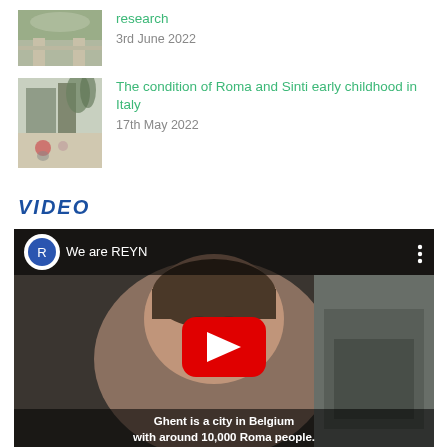research
3rd June 2022
[Figure (photo): Thumbnail photo of outdoor scene with person and structure]
The condition of Roma and Sinti early childhood in Italy
17th May 2022
[Figure (photo): Thumbnail photo of children playing outdoors near a building]
VIDEO
[Figure (screenshot): YouTube video thumbnail: 'We are REYN' with woman speaking to camera and subtitle 'Ghent is a city in Belgium with around 10,000 Roma people.']